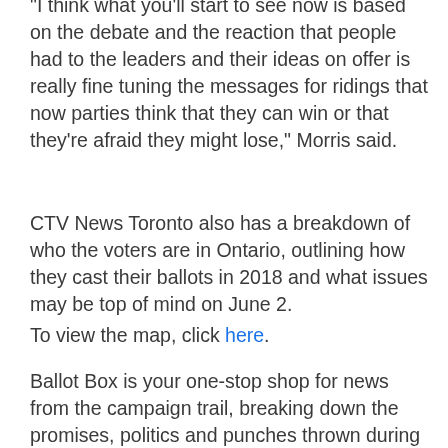"I think what you'll start to see now is based on the debate and the reaction that people had to the leaders and their ideas on offer is really fine tuning the messages for ridings that now parties think that they can win or that they're afraid they might lose," Morris said.
CTV News Toronto also has a breakdown of who the voters are in Ontario, outlining how they cast their ballots in 2018 and what issues may be top of mind on June 2.
To view the map, click here.
Ballot Box is your one-stop shop for news from the campaign trail, breaking down the promises, politics and punches thrown during the week. The podcast airs every Friday on the iHeart